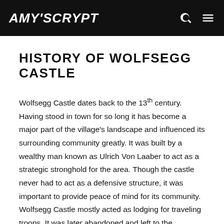Amy's Crypt
HISTORY OF WOLFSEGG CASTLE
Wolfsegg Castle dates back to the 13th century. Having stood in town for so long it has become a major part of the village's landscape and influenced its surrounding community greatly. It was built by a wealthy man known as Ulrich Von Laaber to act as a strategic stronghold for the area. Though the castle never had to act as a defensive structure, it was important to provide peace of mind for its community. Wolfsegg Castle mostly acted as lodging for traveling troops. It was later abandoned and left to the community who used it as a shelter for families in need, though leaving it in desperate need of rejuvenation. Finally, the castle was largely restored by a wealthy and eccentric man. These